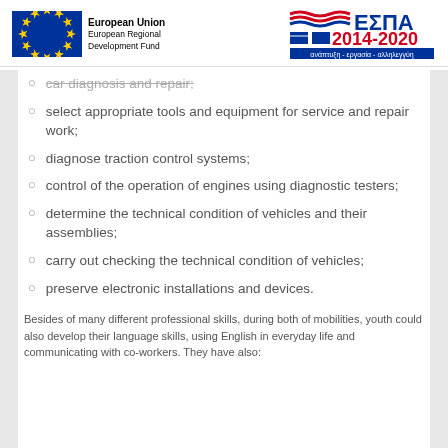European Union European Regional Development Fund | ΕΣΠΑ 2014-2020
car diagnosis and repair;
select appropriate tools and equipment for service and repair work;
diagnose traction control systems;
control of the operation of engines using diagnostic testers;
determine the technical condition of vehicles and their assemblies;
carry out checking the technical condition of vehicles;
preserve electronic installations and devices.
Besides of many different professional skills, during both of mobilities, youth could also develop their language skills, using English in everyday life and communicating with co-workers. They have also: